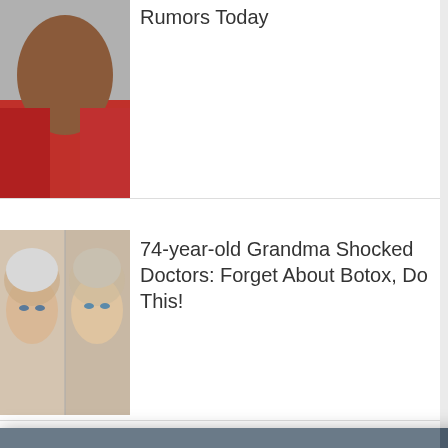[Figure (photo): Person in red top with 'GA' text visible, shown cropped at top of page]
Rumors Today
[Figure (photo): Two older women side by side, before and after style comparison]
74-year-old Grandma Shocked Doctors: Forget About Botox, Do This!
[Figure (photo): Elderly man with long gray hair and white beard, looking at camera]
A Tragic End Today For Willie Nelson
Promoted
[Figure (photo): Close-up of toenail or skin detail, yellowish/reddish tones]
n The Know
escribe